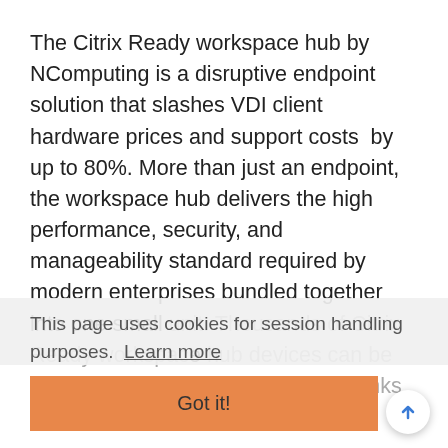The Citrix Ready workspace hub by NComputing is a disruptive endpoint solution that slashes VDI client hardware prices and support costs by up to 80%. More than just an endpoint, the workspace hub delivers the high performance, security, and manageability standard required by modern enterprises bundled together into one small unit. Thousands of Citrix Ready workspace hub devices can be deployed instantly and remotely thanks to Stratodesk software. Additionally, instant updates, configurations and maintenance can be done via Stratodesk NoTouch Center from
This page uses cookies for session handling purposes. Learn more
Got it!